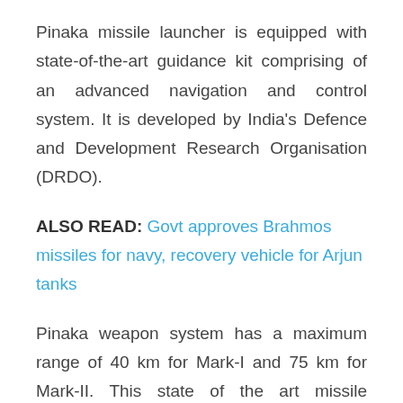Pinaka missile launcher is equipped with state-of-the-art guidance kit comprising of an advanced navigation and control system. It is developed by India's Defence and Development Research Organisation (DRDO).
ALSO READ: Govt approves Brahmos missiles for navy, recovery vehicle for Arjun tanks
Pinaka weapon system has a maximum range of 40 km for Mark-I and 75 km for Mark-II. This state of the art missile launcher can fire a salvo